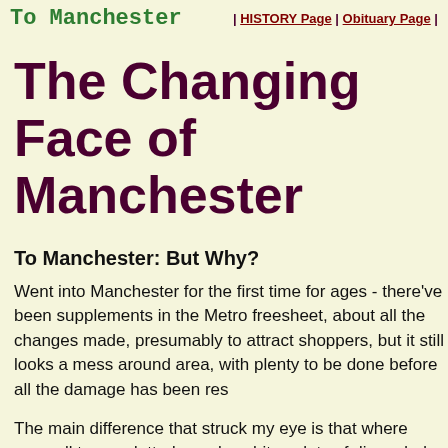To Manchester | HISTORY Page | Obituary Page |
The Changing Face of Manchester
To Manchester: But Why?
Went into Manchester for the first time for ages - there've been supplements in the Metro freesheet, about all the changes made, presumably to attract shoppers, but it still looks a mess around area, with plenty to be done before all the damage has been res
The main difference that struck my eye is that where once all t were dotted over by white splots of discarded chewing gum, no black splots. I gather the plan to remove the offending splots b too successful. And the makeshift platform for the trams, insta Lewis's, has now been sensibly moved to the middle of the ro